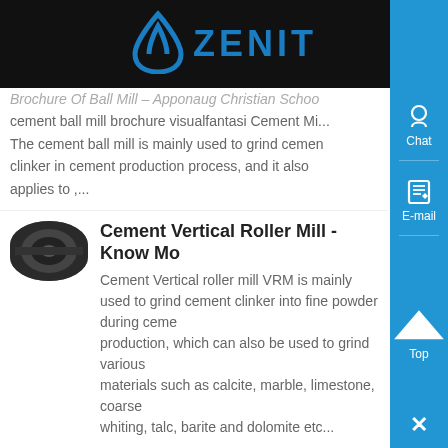ZENIT
Brochure Of Ball Mill – Apponaug Christian School cement ball mill brochure visualfantasi Cement Mi... The cement ball mill is mainly used to grind cement clinker in cement production process, and it also applies to ,...
Cement Vertical Roller Mill - Know Mo
Cement Vertical roller mill VRM is mainly used to grind cement clinker into fine powder during cement production, which can also be used to grind various materials such as calcite, marble, limestone, coarse whiting, talc, barite and dolomite etc...
Vertical roller mill optimisation - Know More